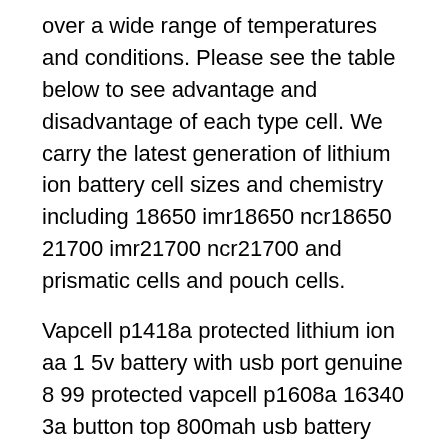over a wide range of temperatures and conditions. Please see the table below to see advantage and disadvantage of each type cell. We carry the latest generation of lithium ion battery cell sizes and chemistry including 18650 imr18650 ncr18650 21700 imr21700 ncr21700 and prismatic cells and pouch cells.
Vapcell p1418a protected lithium ion aa 1 5v battery with usb port genuine 8 99 protected vapcell p1608a 16340 3a button top 800mah usb battery genuine. Whether the application requires outstanding cycle life or stable float reliability the lithium werks 18650 cells are suitable for a wide variety of power pulse or stand by applications. Lifepo4 and limnnio4 cell still are in developing.
The 18650 battery is a lithium ion cell classified by its 18mm x 65mm size which is slightly larger than a aa battery. 18650 3 7v 5000mah rechargeable li ion battery long lasting blue shell lithium ion battery 18650 button top batteries for led torch flashlight 14 98 14. They re often